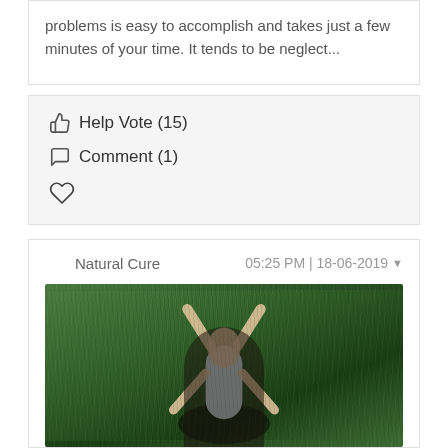problems is easy to accomplish and takes just a few minutes of your time. It tends to be neglect...
👍 Help Vote (15)
💬 Comment (1)
♡ (heart/favorite)
Natural Cure   05:25 PM | 18-06-2019
[Figure (photo): Aerial/top-down view of a person lying on green grass, wearing a white top, with head tilted back and hands near face.]